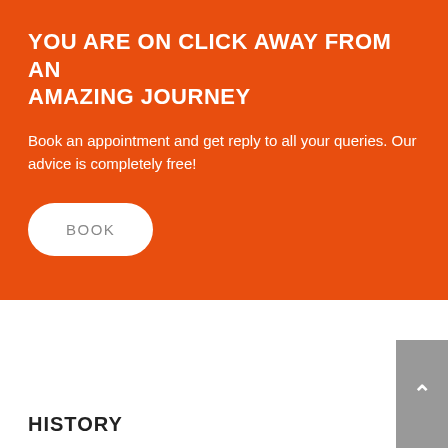YOU ARE ON CLICK AWAY FROM AN AMAZING JOURNEY
Book an appointment and get reply to all your queries. Our advice is completely free!
BOOK
HISTORY